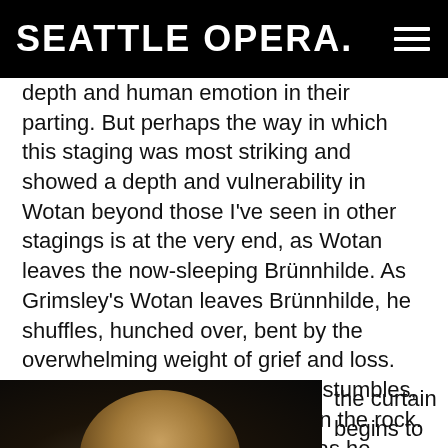SEATTLE OPERA.
depth and human emotion in their parting. But perhaps the way in which this staging was most striking and showed a depth and vulnerability in Wotan beyond those I've seen in other stagings is at the very end, as Wotan leaves the now-sleeping Brünnhilde. As Grimsley's Wotan leaves Brünnhilde, he shuffles, hunched over, bent by the overwhelming weight of grief and loss. And as he's shuffling away, he stumbles, catching and bracing himself on the rock. He stumbles once, twice. And as he starts to round the rock to leave us, he stumbles a third time. But this time he fails to catch himself and crumples to the ground. And as the music fades, the lights darken and the curtain begins to fall, we see
[Figure (photo): A performer in costume with long hair and sunglasses, photographed against a dark background, appearing to be on stage]